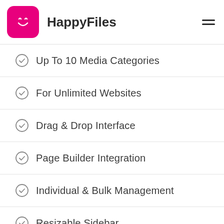HappyFiles
Up To 10 Media Categories
For Unlimited Websites
Drag & Drop Interface
Page Builder Integration
Individual & Bulk Management
Resizable Sidebar